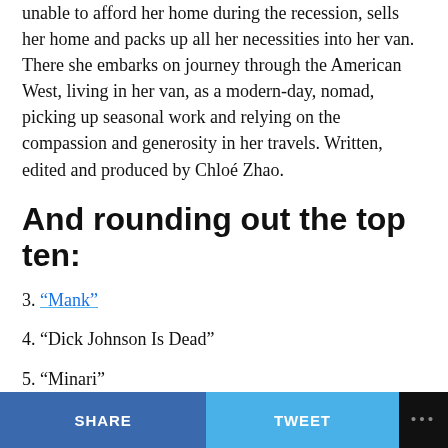unable to afford her home during the recession, sells her home and packs up all her necessities into her van. There she embarks on journey through the American West, living in her van, as a modern-day, nomad, picking up seasonal work and relying on the compassion and generosity in her travels. Written, edited and produced by Chloé Zhao.
And rounding out the top ten:
3. “Mank”
4. “Dick Johnson Is Dead”
5. “Minari”
6. “David Byrne’s American Utopia”
SHARE   TWEET   ...